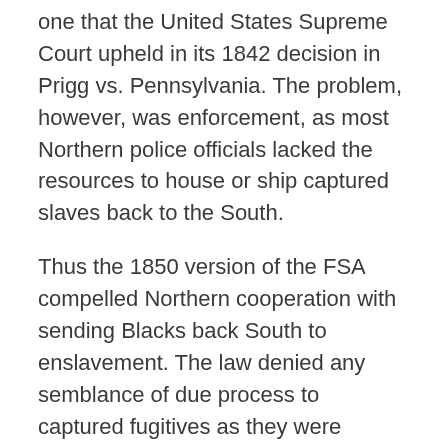one that the United States Supreme Court upheld in its 1842 decision in Prigg vs. Pennsylvania. The problem, however, was enforcement, as most Northern police officials lacked the resources to house or ship captured slaves back to the South.
Thus the 1850 version of the FSA compelled Northern cooperation with sending Blacks back South to enslavement. The law denied any semblance of due process to captured fugitives as they were denied the right to testify on their own behalf or have their cases heard before a jury. Further complicating matters was the fact that the commissioners who made the determinations received their pay directly from the very slave holders making the claims, thus creating an obvious pecuniary incentive for commissioners to deny as many claims of